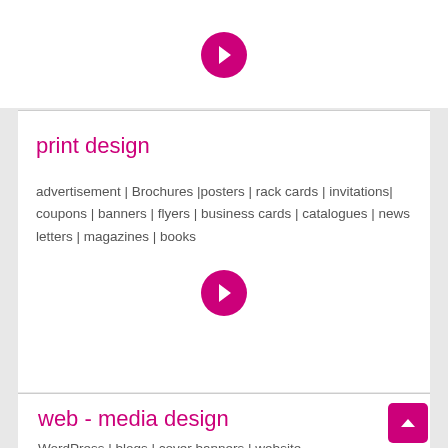[Figure (other): Magenta arrow-in-circle icon pointing right]
print design
advertisement | Brochures |posters | rack cards | invitations| coupons | banners | flyers | business cards | catalogues | news letters | magazines | books
[Figure (other): Magenta arrow-in-circle icon pointing right]
web - media design
WordPress | blogs | cover banners | website features | web ads